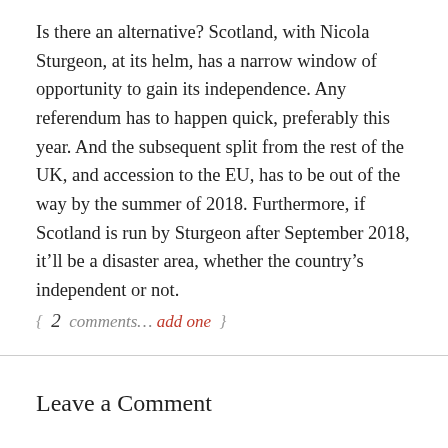Is there an alternative?  Scotland, with Nicola Sturgeon, at its helm, has a narrow window of opportunity to gain its independence.  Any referendum has to happen quick, preferably this year.  And the subsequent split from the rest of the UK, and accession to the EU, has to be out of the way by the summer of 2018.  Furthermore, if Scotland is run by Sturgeon after September 2018, it'll be a disaster area, whether the country's independent or not.
{ 2 comments… add one }
Leave a Comment